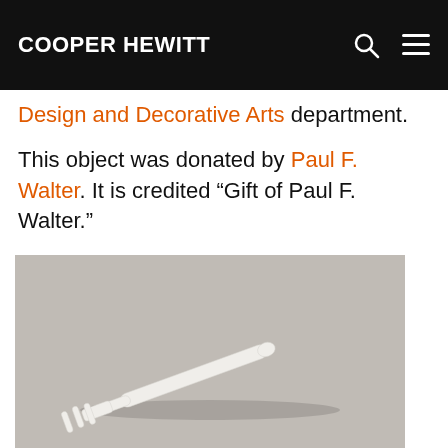COOPER HEWITT
Design and Decorative Arts department.
This object was donated by Paul F. Walter. It is credited “Gift of Paul F. Walter.”
[Figure (photo): A white plastic fork photographed diagonally on a gray background]